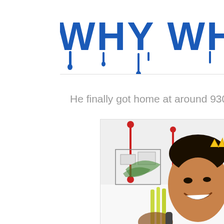[Figure (illustration): Cropped image showing bold blue dripping graffiti-style text reading 'WHY WHY WH...' (partially cut off at right edge) on a white background.]
He finally got home at around 930pm and went stra...
[Figure (photo): Photo of a smiling Asian man holding what appears to be lemongrass or green stalks, with a colorful architectural floor plan or artwork visible behind him featuring red pole-like structures.]